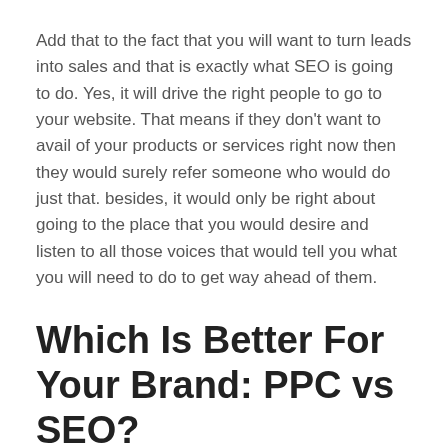Add that to the fact that you will want to turn leads into sales and that is exactly what SEO is going to do. Yes, it will drive the right people to go to your website. That means if they don't want to avail of your products or services right now then they would surely refer someone who would do just that. besides, it would only be right about going to the place that you would desire and listen to all those voices that would tell you what you will need to do to get way ahead of them.
Which Is Better For Your Brand: PPC vs SEO?